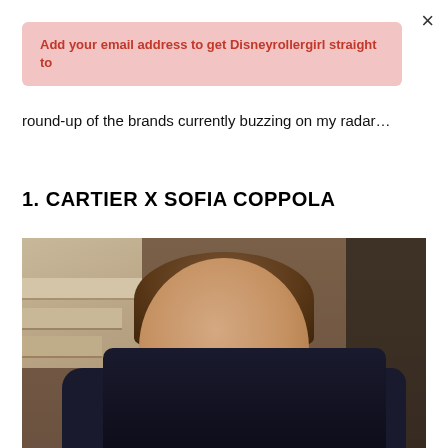×
Add your email address to get Disneyrollergirl straight to
round-up of the brands currently buzzing on my radar…
1. CARTIER X SOFIA COPPOLA
[Figure (photo): Portrait photo of Sofia Coppola seated on outdoor steps with an iron railing behind her, wearing a dark top, with short brown hair, smiling slightly]